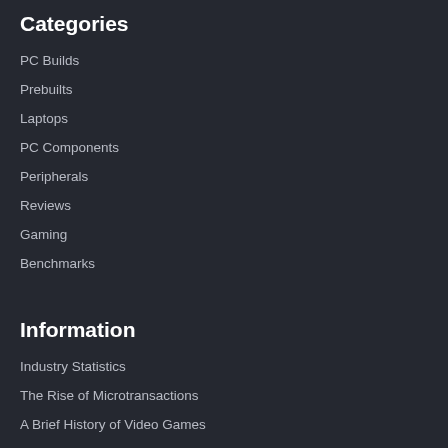Categories
PC Builds
Prebuilts
Laptops
PC Components
Peripherals
Reviews
Gaming
Benchmarks
Information
Industry Statistics
The Rise of Microtransactions
A Brief History of Video Games